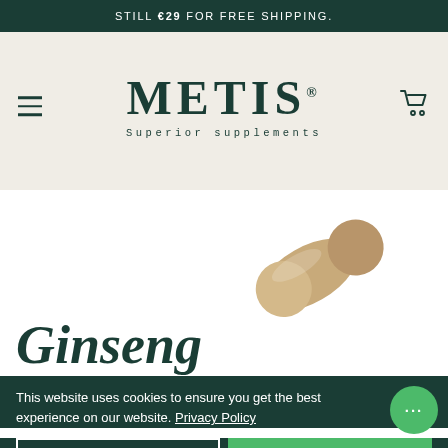STILL €29 FOR FREE SHIPPING.
[Figure (logo): METIS Superior supplements logo in dark green on beige background, with hamburger menu icon on left and cart icon on right]
[Figure (photo): A beige/tan supplement capsule pill on white background above partially visible 'Ginseng' text in dark green italic serif font]
This website uses cookies to ensure you get the best experience on our website. Privacy Policy
Preferences
Accept